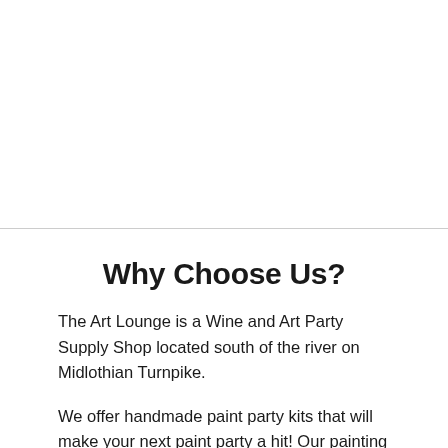[Figure (other): White blank/empty upper section of a webpage, above a horizontal divider line.]
Why Choose Us?
The Art Lounge is a Wine and Art Party Supply Shop located south of the river on Midlothian Turnpike.
We offer handmade paint party kits that will make your next paint party a hit! Our painting kits include pre-drawn canvases, paint brushes, paint tray, apron and more. They're perfect for parties